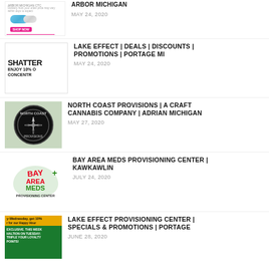ARBOR MICHIGAN - MAY 24, 2020
LAKE EFFECT | DEALS | DISCOUNTS | PROMOTIONS | PORTAGE MI - MAY 24, 2020
NORTH COAST PROVISIONS | A CRAFT CANNABIS COMPANY | ADRIAN MICHIGAN - MAY 27, 2020
BAY AREA MEDS PROVISIONING CENTER | KAWKAWLIN - JULY 24, 2020
LAKE EFFECT PROVISIONING CENTER | SPECIALS & PROMOTIONS | PORTAGE - JUNE 28, 2020